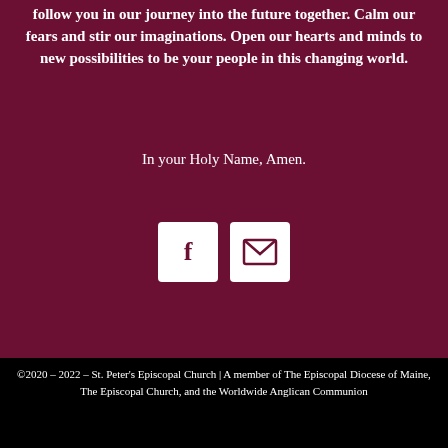follow you in our journey into the future together. Calm our fears and stir our imaginations. Open our hearts and minds to new possibilities to be your people in this changing world.

In your Holy Name, Amen.
[Figure (illustration): Two social media icon buttons: a Facebook icon (f) and an email/envelope icon, both white on dark maroon background with white rounded square backgrounds]
©2020 – 2022 – St. Peter's Episcopal Church | A member of The Episcopal Diocese of Maine, The Episcopal Church, and the Worldwide Anglican Communion